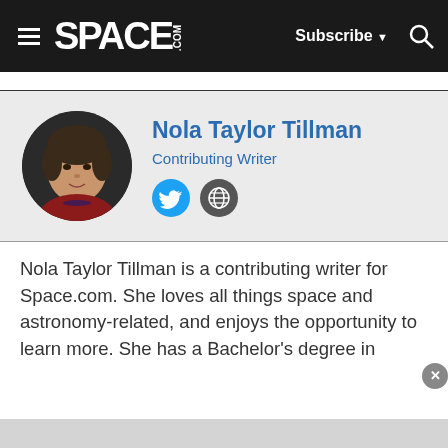SPACE.com — Subscribe — Search
Nola Taylor Tillman
Contributing Writer
[Figure (photo): Circular portrait photo of Nola Taylor Tillman]
[Figure (logo): Twitter bird icon (social link)]
[Figure (logo): Globe/website icon (social link)]
Nola Taylor Tillman is a contributing writer for Space.com. She loves all things space and astronomy-related, and enjoys the opportunity to learn more. She has a Bachelor's degree in